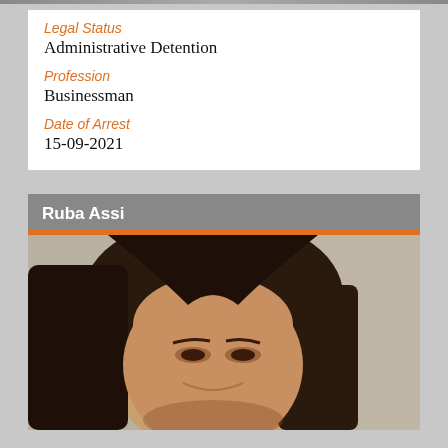Legal Status
Administrative Detention
Profession
Businessman
Date of Arrest
15-09-2021
Ruba Assi
[Figure (photo): Close-up photograph of a woman with long dark hair, smiling, photographed from slightly below, with a light-colored wall in the background.]